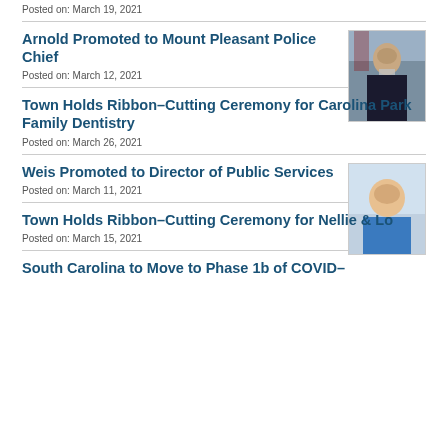Posted on: March 19, 2021
Arnold Promoted to Mount Pleasant Police Chief
Posted on: March 12, 2021
[Figure (photo): Portrait photo of police officer in uniform]
Town Holds Ribbon-Cutting Ceremony for Carolina Park Family Dentistry
Posted on: March 26, 2021
Weis Promoted to Director of Public Services
Posted on: March 11, 2021
[Figure (photo): Portrait photo of man in blue shirt]
Town Holds Ribbon-Cutting Ceremony for Nellie & Lo
Posted on: March 15, 2021
South Carolina to Move to Phase 1b of COVID-